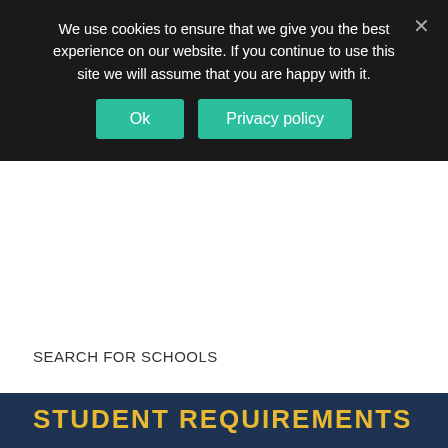We use cookies to ensure that we give you the best experience on our website. If you continue to use this site we will assume that you are happy with it.
Ok  Privacy policy
SEARCH FOR SCHOOLS
STUDENT REQUIREMENTS